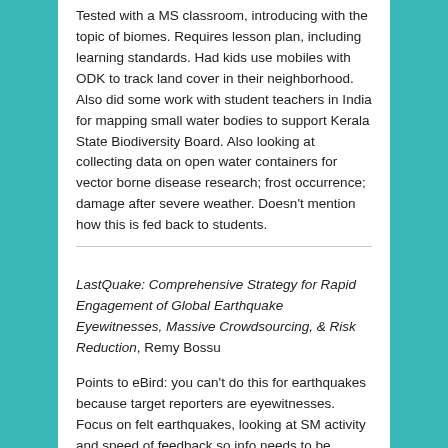Tested with a MS classroom, introducing with the topic of biomes. Requires lesson plan, including learning standards. Had kids use mobiles with ODK to track land cover in their neighborhood. Also did some work with student teachers in India for mapping small water bodies to support Kerala State Biodiversity Board. Also looking at collecting data on open water containers for vector borne disease research; frost occurrence; damage after severe weather. Doesn't mention how this is fed back to students.
LastQuake: Comprehensive Strategy for Rapid Engagement of Global Earthquake Eyewitnesses, Massive Crowdsourcing, & Risk Reduction, Remy Bossu
Points to eBird: you can't do this for earthquakes because target reporters are eyewitnesses. Focus on felt earthquakes, looking at SM activity and speed of feedback so info needs to be available across SM platforms. QuakeBot, apps & add-ons are intended to